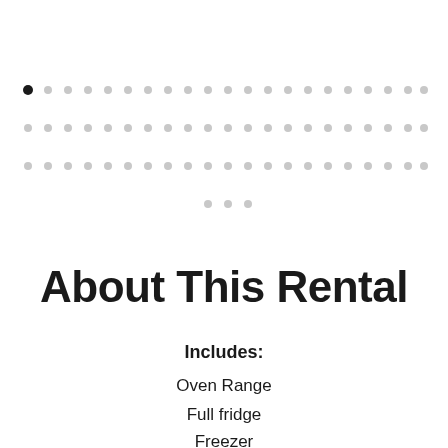[Figure (other): Decorative dot grid pattern with rows of small circles, one filled black dot at left of first row, remaining dots in light gray]
About This Rental
Includes:
Oven Range
Full fridge
Freezer
Dishwasher